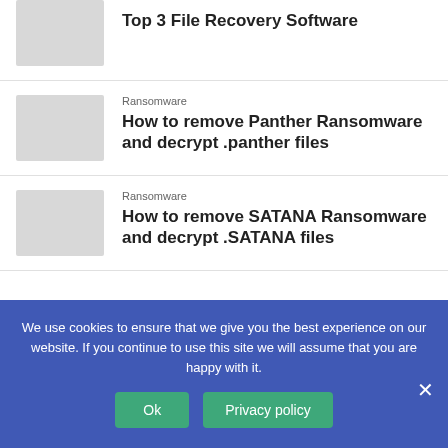[Figure (photo): Thumbnail image placeholder for Top 3 File Recovery Software article]
Top 3 File Recovery Software
[Figure (photo): Thumbnail image placeholder for Panther Ransomware article]
Ransomware
How to remove Panther Ransomware and decrypt .panther files
[Figure (photo): Thumbnail image placeholder for SATANA Ransomware article]
Ransomware
How to remove SATANA Ransomware and decrypt .SATANA files
We use cookies to ensure that we give you the best experience on our website. If you continue to use this site we will assume that you are happy with it.